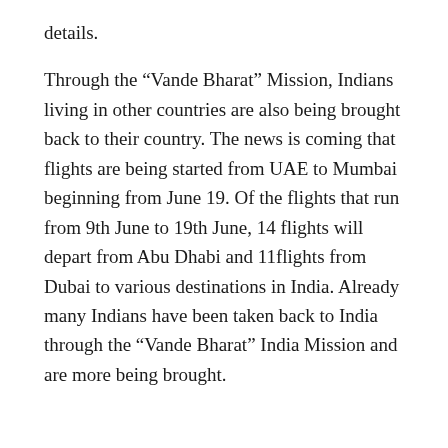details.
Through the “Vande Bharat” Mission, Indians living in other countries are also being brought back to their country. The news is coming that flights are being started from UAE to Mumbai beginning from June 19. Of the flights that run from 9th June to 19th June, 14 flights will depart from Abu Dhabi and 11flights from Dubai to various destinations in India. Already many Indians have been taken back to India through the “Vande Bharat” India Mission and are more being brought.